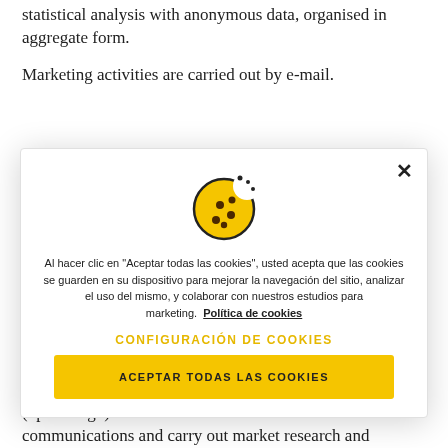statistical analysis with anonymous data, organised in aggregate form.
Marketing activities are carried out by e-mail.
[Figure (screenshot): Cookie consent modal dialog with a cookie icon, close button (×), Spanish text about accepting cookies, a 'CONFIGURACIÓN DE COOKIES' link in yellow, and a yellow 'ACEPTAR TODAS LAS COOKIES' button.]
for the creation of group and individual profiles («profiling») that are used to send customised communications and carry out market research and